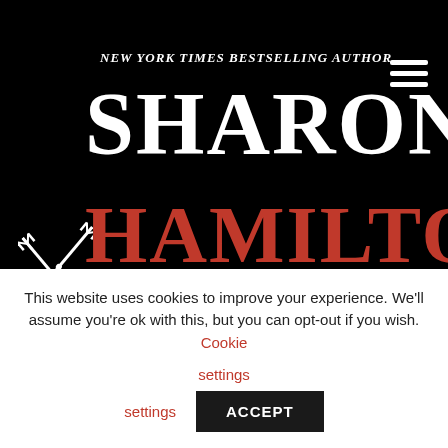[Figure (logo): Sharon Hamilton author logo with crossed tridents, white SHARON text and red HAMILTON text on black background, with tagline NEW YORK TIMES BESTSELLING AUTHOR]
Join Sharon's Newsletter
Ready to jump in? Sign up for Sharon's Newsletter and get the specs on new stories, covers, sneak peeks, Sharon's travels, and more!
This website uses cookies to improve your experience. We'll assume you're ok with this, but you can opt-out if you wish. Cookie settings ACCEPT